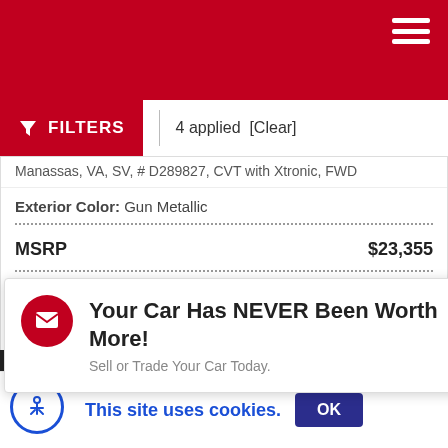Header bar with hamburger menu
FILTERS | 4 applied [Clear]
Manassas, VA, SV, # D289827, CVT with Xtronic, FWD
Exterior Color: Gun Metallic
|  |  |
| --- | --- |
| MSRP | $23,355 |
| Market Adjustment | + $995 |
| Sheehy Easy Price | $24,350 |
Your Car Has NEVER Been Worth More! Sell or Trade Your Car Today.
This site uses cookies. OK